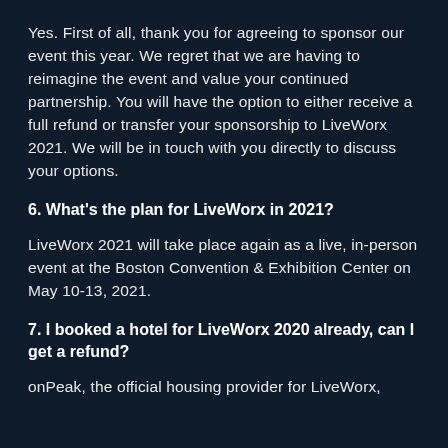Yes. First of all, thank you for agreeing to sponsor our event this year. We regret that we are having to reimagine the event and value your continued partnership. You will have the option to either receive a full refund or transfer your sponsorship to LiveWorx 2021. We will be in touch with you directly to discuss your options.
6. What's the plan for LiveWorx in 2021?
LiveWorx 2021 will take place again as a live, in-person event at the Boston Convention & Exhibition Center on May 10-13, 2021.
7. I booked a hotel for LiveWorx 2020 already, can I get a refund?
onPeak, the official housing provider for LiveWorx,